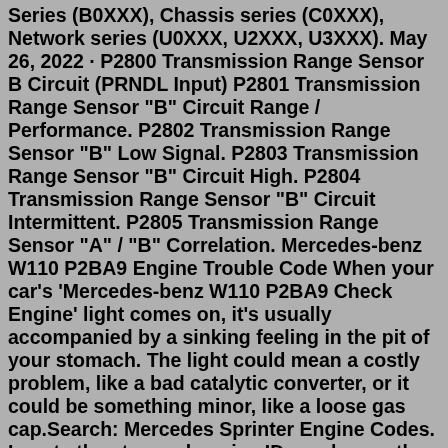Series (B0XXX), Chassis series (C0XXX), Network series (U0XXX, U2XXX, U3XXX). May 26, 2022 · P2800 Transmission Range Sensor B Circuit (PRNDL Input) P2801 Transmission Range Sensor "B" Circuit Range / Performance. P2802 Transmission Range Sensor "B" Low Signal. P2803 Transmission Range Sensor "B" Circuit High. P2804 Transmission Range Sensor "B" Circuit Intermittent. P2805 Transmission Range Sensor "A" / "B" Correlation. Mercedes-benz W110 P2BA9 Engine Trouble Code When your car's 'Mercedes-benz W110 P2BA9 Check Engine' light comes on, it's usually accompanied by a sinking feeling in the pit of your stomach. The light could mean a costly problem, like a bad catalytic converter, or it could be something minor, like a loose gas cap.Search: Mercedes Sprinter Engine Codes. Locate the stamped engine ID number on the top or side of the engine block, towards the rear of the engine So you should chech it on our car models Codes cleared Find many great new & used options and get the best deals for MERCEDES SPRINTER ENGINE.